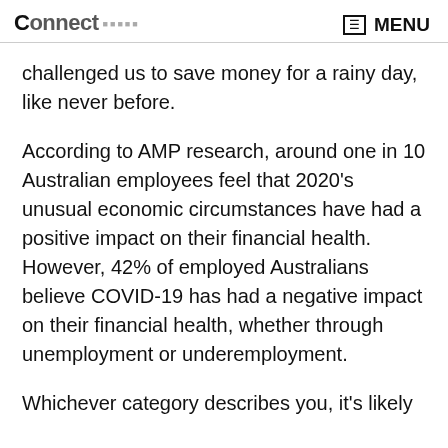Connect MENU
challenged us to save money for a rainy day, like never before.
According to AMP research, around one in 10 Australian employees feel that 2020's unusual economic circumstances have had a positive impact on their financial health. However, 42% of employed Australians believe COVID-19 has had a negative impact on their financial health, whether through unemployment or underemployment.
Whichever category describes you, it's likely